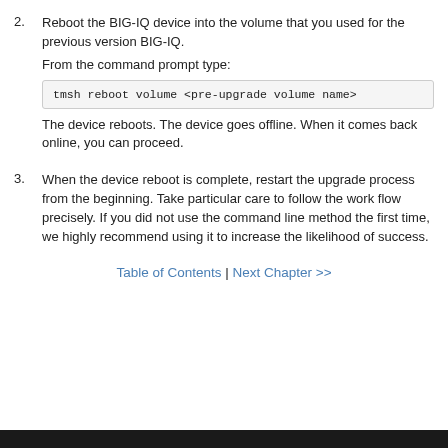2. Reboot the BIG-IQ device into the volume that you used for the previous version BIG-IQ. From the command prompt type: tmsh reboot volume <pre-upgrade volume name> The device reboots. The device goes offline. When it comes back online, you can proceed.
3. When the device reboot is complete, restart the upgrade process from the beginning. Take particular care to follow the work flow precisely. If you did not use the command line method the first time, we highly recommend using it to increase the likelihood of success.
Table of Contents | Next Chapter >>